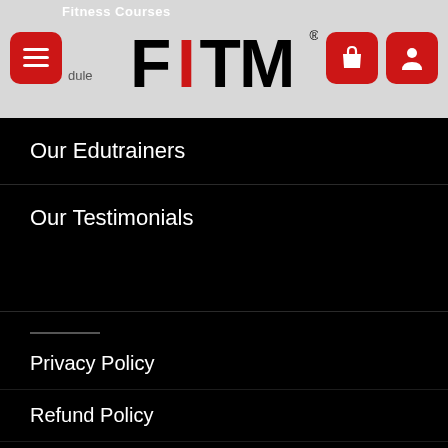Fitness Courses
[Figure (logo): FITM logo with red letter I in bold black text, registered trademark symbol]
Our Edutrainers
Our Testimonials
Privacy Policy
Refund Policy
Terms and Conditions
News & Events
Contact Us